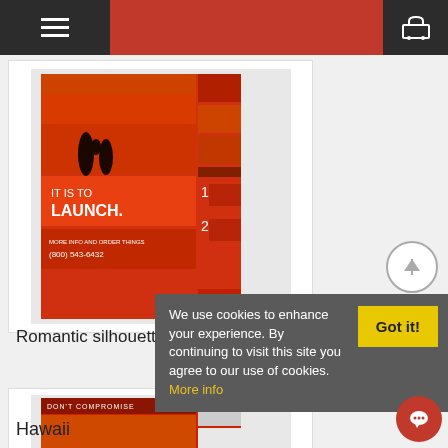Navigation bar with hamburger menu and shopping cart
[Figure (illustration): Product flyer showing romantic silhouette with orange/red sunset background, text IT IS TO LAUNCH., (800) 543-6432]
Romantic silhouette of a loving
DOWNLOAD
[Figure (illustration): Product flyer showing beach chairs at sunset - DON'T COMPROMISE header]
We use cookies to enhance your experience. By continuing to visit this site you agree to our use of cookies. More info
Got it!
Hawaii